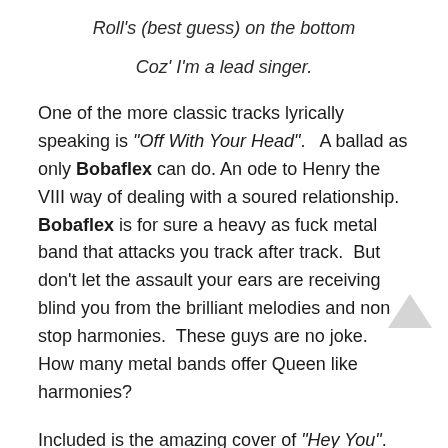Roll's (best guess) on the bottom
Coz' I'm a lead singer.
One of the more classic tracks lyrically speaking is "Off With Your Head".  A ballad as only Bobaflex can do.  An ode to Henry the VIII way of dealing with a soured relationship.  Bobaflex is for sure a heavy as fuck metal band that attacks you track after track.  But don't let the assault your ears are receiving blind you from the brilliant melodies and non stop harmonies.  These guys are no joke.  How many metal bands offer Queen like harmonies?
Included is the amazing cover of "Hey You".  Which